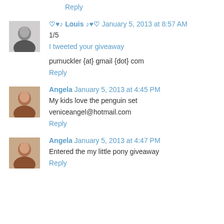Reply
♡♥♪ Louis ♪♥♡  January 5, 2013 at 8:57 AM
1/5
I tweeted your giveaway
pumuckler {at} gmail {dot} com
Reply
Angela  January 5, 2013 at 4:45 PM
My kids love the penguin set
veniceangel@hotmail.com
Reply
Angela  January 5, 2013 at 4:47 PM
Entered the my little pony giveaway
Reply